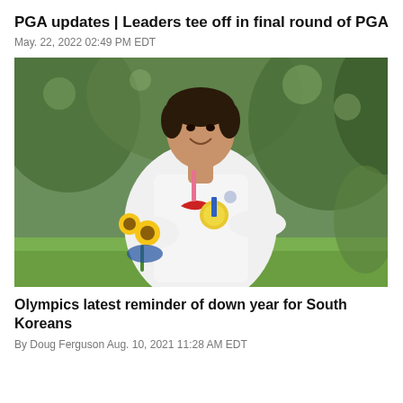PGA updates | Leaders tee off in final round of PGA
May. 22, 2022 02:49 PM EDT
[Figure (photo): A smiling golfer in a white USA Nike jacket holding a gold Olympic medal and a bouquet of sunflowers, standing outdoors with green trees in background.]
Olympics latest reminder of down year for South Koreans
By Doug Ferguson Aug. 10, 2021 11:28 AM EDT